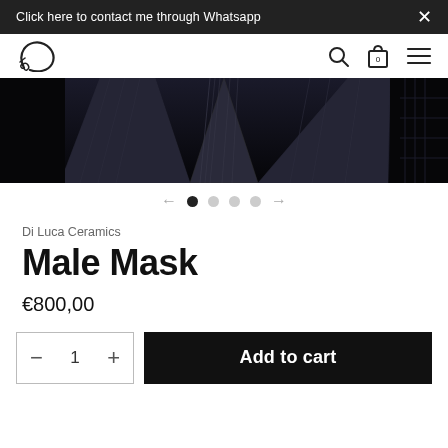Click here to contact me through Whatsapp
[Figure (logo): Di Luca Ceramics stylized 'D' script logo]
[Figure (photo): Close-up photo of a dark ceramic mask with textured sculptural ridges and patterns]
Di Luca Ceramics
Male Mask
€800,00
Add to cart